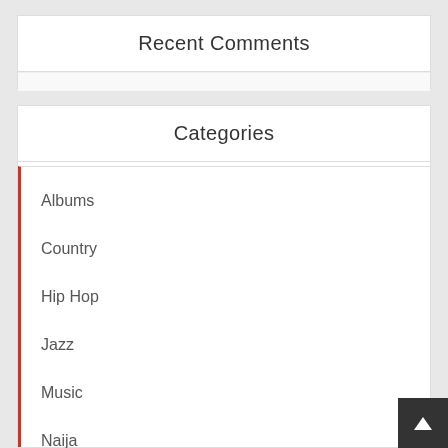Recent Comments
Categories
Albums
Country
Hip Hop
Jazz
Music
Naija
Pop
R n B